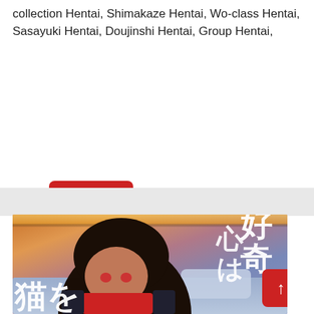collection Hentai, Shimakaze Hentai, Wo-class Hentai, Sasayuki Hentai, Doujinshi Hentai, Group Hentai,
[Figure (illustration): Red rounded-rectangle button with white text 'Read More']
[Figure (illustration): Manga/anime cover art showing a dark-haired male character lying on a bed with Japanese text overlaid reading '好奇心は猫を'. A red scroll-to-top arrow button is visible in the lower right corner.]